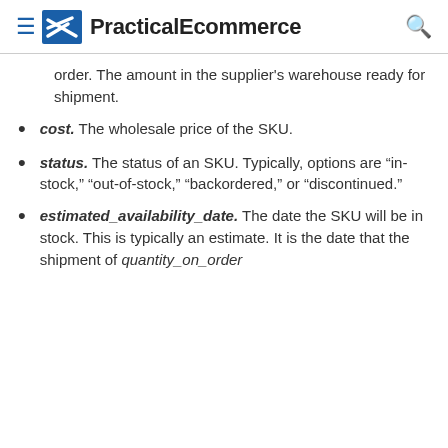PracticalEcommerce
order. The amount in the supplier's warehouse ready for shipment.
cost. The wholesale price of the SKU.
status. The status of an SKU. Typically, options are “in-stock,” “out-of-stock,” “backordered,” or “discontinued.”
estimated_availability_date. The date the SKU will be in stock. This is typically an estimate. It is the date that the shipment of quantity_on_order